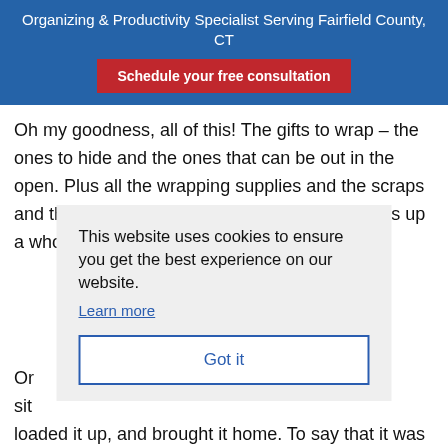Organizing & Productivity Specialist Serving Fairfield County, CT
Schedule your free consultation
Oh my goodness, all of this! The gifts to wrap – the ones to hide and the ones that can be out in the open. Plus all the wrapping supplies and the scraps and the decorations and the giant tree that takes up a whole room!
This website uses cookies to ensure you get the best experience on our website.
Learn more
Got it
Or sit loaded it up, and brought it home. To say that it was